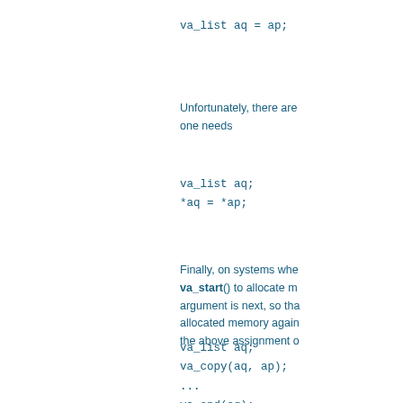va_list aq = ap;
Unfortunately, there are one needs
va_list aq;
*aq = *ap;
Finally, on systems whe va_start() to allocate m argument is next, so tha allocated memory again the above assignment o
va_list aq;
va_copy(aq, ap);
...
va_end(aq);